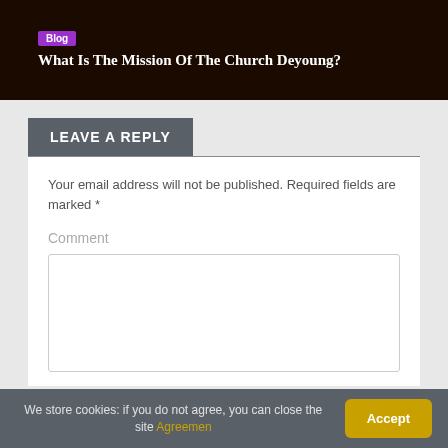[Figure (screenshot): Top dark banner with purple 'Blog' tag and white title text 'What Is The Mission Of The Church Deyoung?']
LEAVE A REPLY
Your email address will not be published. Required fields are marked *
Comment
We store cookies: if you do not agree, you can close the site Agreemen